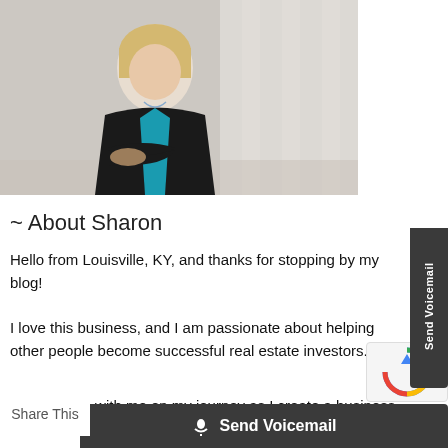[Figure (photo): Woman with blonde hair in black jacket and teal top standing with arms crossed in front of white columns background]
~ About Sharon
Hello from Louisville, KY, and thanks for stopping by my blog!
I love this business, and I am passionate about helping other people become successful real estate investors.
Come along with me on my journey as I create a business and a lifestyle...